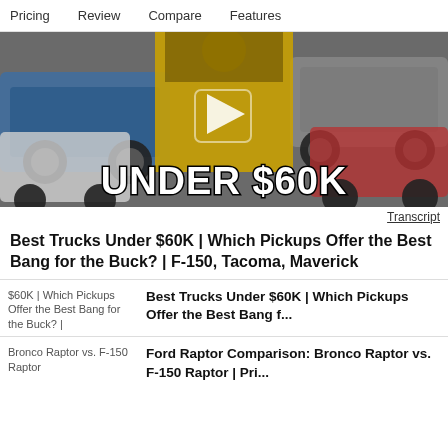Pricing   Review   Compare   Features
[Figure (screenshot): Video thumbnail showing trucks and a person in yellow shirt with text 'UNDER $60K' overlaid in large white bold letters with a play button in the center.]
Transcript
Best Trucks Under $60K | Which Pickups Offer the Best Bang for the Buck? | F-150, Tacoma, Maverick
$60K | Which Pickups Offer the Best Bang for the Buck? |
Best Trucks Under $60K | Which Pickups Offer the Best Bang f...
Bronco Raptor vs. F-150 Raptor
Ford Raptor Comparison: Bronco Raptor vs. F-150 Raptor | Pri...